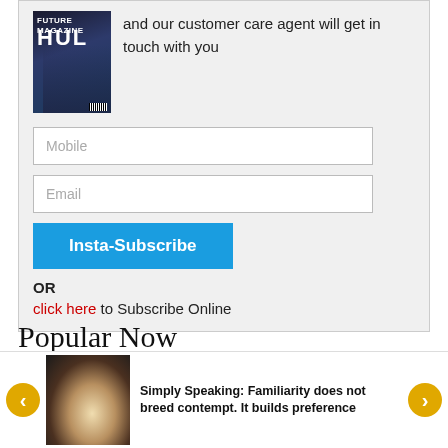[Figure (illustration): Magazine cover of HUL publication showing a person in a suit]
and our customer care agent will get in touch with you
Mobile
Email
Insta-Subscribe
OR
click here to Subscribe Online
Popular Now
How rainmaker Sanjiv Mehta is building up HUL for the next
[Figure (photo): Artistic photo with shells and food items on dark background]
Simply Speaking: Familiarity does not breed contempt. It builds preference